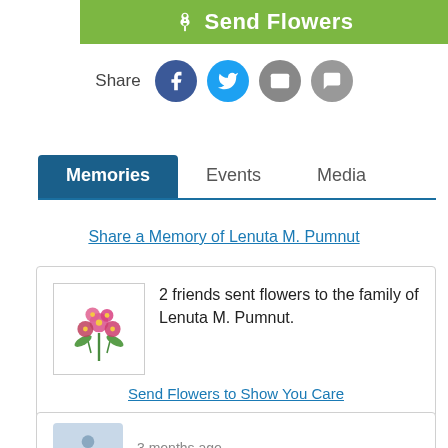[Figure (infographic): Green Send Flowers button with flower icon at top]
[Figure (infographic): Share row with Facebook, Twitter, Email, and Message social icons]
Memories | Events | Media tabs, Memories active
Share a Memory of Lenuta M. Pumnut
2 friends sent flowers to the family of Lenuta M. Pumnut.
Send Flowers to Show You Care
Guaranteed Hand Delivery by a Local Florist!
3 months ago